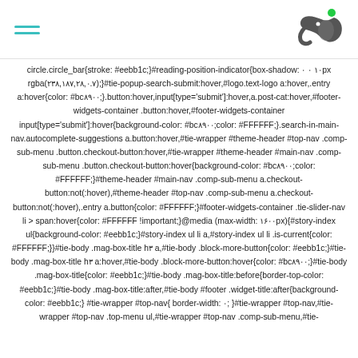[hamburger menu icon] [logo]
circle.circle_bar{stroke: #eebb1c;}#reading-position-indicator{box-shadow: ۰ ۰ ۱۰px rgba(۲۳۸,۱۸۷,۲۸,۰.۷);}#tie-popup-search-submit:hover,#logo.text-logo a:hover,.entry a:hover{color: #bc۸۹۰۰;}.button:hover,input[type='submit']:hover,a.post-cat:hover,#footer-widgets-container .button:hover,#footer-widgets-container input[type='submit']:hover{background-color: #bc۸۹۰۰;color: #FFFFFF;}.search-in-main-nav.autocomplete-suggestions a.button:hover,#tie-wrapper #theme-header #top-nav .comp-sub-menu .button.checkout-button:hover,#tie-wrapper #theme-header #main-nav .comp-sub-menu .button.checkout-button:hover{background-color: #bc۸۹۰۰;color: #FFFFFF;}#theme-header #main-nav .comp-sub-menu a.checkout-button:not(:hover),#theme-header #top-nav .comp-sub-menu a.checkout-button:not(:hover),.entry a.button{color: #FFFFFF;}#footer-widgets-container .tie-slider-nav li > span:hover{color: #FFFFFF !important;}@media (max-width: ۱۶۰۰px){#story-index ul{background-color: #eebb1c;}#story-index ul li a,#story-index ul li .is-current{color: #FFFFFF;}}#tie-body .mag-box-title h۳ a,#tie-body .block-more-button{color: #eebb1c;}#tie-body .mag-box-title h۳ a:hover,#tie-body .block-more-button:hover{color: #bc۸۹۰۰;}#tie-body .mag-box-title{color: #eebb1c;}#tie-body .mag-box-title:before{border-top-color: #eebb1c;}#tie-body .mag-box-title:after,#tie-body #footer .widget-title:after{background-color: #eebb1c;} #tie-wrapper #top-nav{ border-width: ۰; }#tie-wrapper #top-nav,#tie-wrapper #top-nav .top-menu ul,#tie-wrapper #top-nav .comp-sub-menu,#tie-